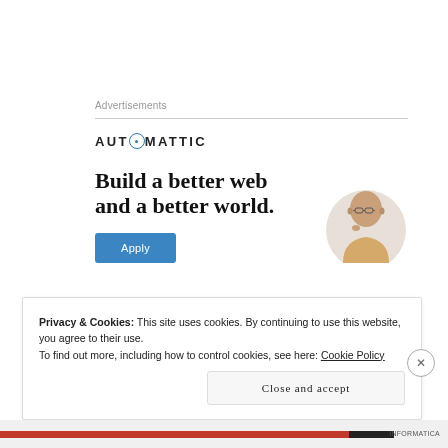Advertisements
[Figure (logo): Automattic logo with stylized compass/clock O symbol in blue]
Build a better web and a better world.
[Figure (illustration): Photo of a man with glasses thinking, cropped in a half-circle]
Apply
Privacy & Cookies: This site uses cookies. By continuing to use this website, you agree to their use.
To find out more, including how to control cookies, see here: Cookie Policy
Close and accept